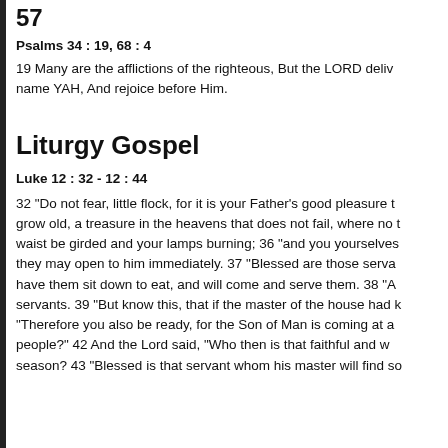57
Psalms 34 : 19, 68 : 4
19 Many are the afflictions of the righteous, But the LORD deliv... name YAH, And rejoice before Him.
Liturgy Gospel
Luke 12 : 32 - 12 : 44
32 "Do not fear, little flock, for it is your Father's good pleasure t... grow old, a treasure in the heavens that does not fail, where no t... waist be girded and your lamps burning; 36 "and you yourselves... they may open to him immediately. 37 "Blessed are those serva... have them sit down to eat, and will come and serve them. 38 "A... servants. 39 "But know this, that if the master of the house had k... "Therefore you also be ready, for the Son of Man is coming at a... people?" 42 And the Lord said, "Who then is that faithful and w... season? 43 "Blessed is that servant whom his master will find so...